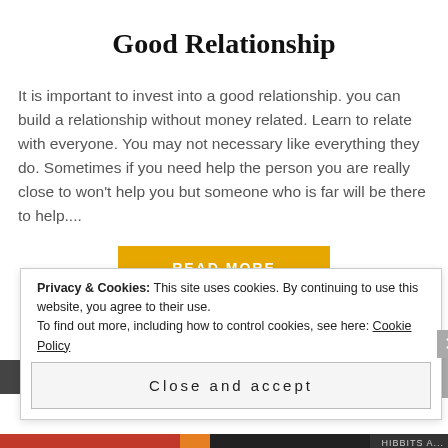Good Relationship
It is important to invest into a good relationship. you can build a relationship without money related. Learn to relate with everyone. You may not necessary like everything they do. Sometimes if you need help the person you are really close to won't help you but someone who is far will be there to help....
READ MORE
Privacy & Cookies: This site uses cookies. By continuing to use this website, you agree to their use.
To find out more, including how to control cookies, see here: Cookie Policy
Close and accept